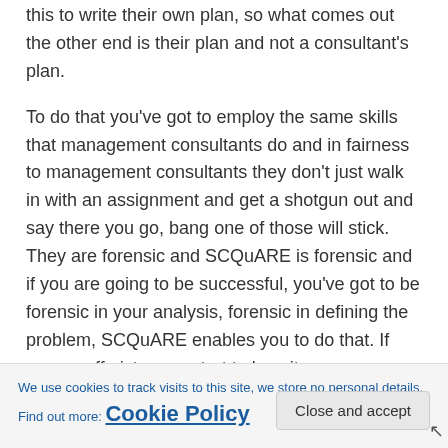…actually, but our job is to provide those skills so that they use this to write their own plan, so what comes out the other end is their plan and not a consultant's plan.
To do that you've got to employ the same skills that management consultants do and in fairness to management consultants they don't just walk in with an assignment and get a shotgun out and say there you go, bang one of those will stick. They are forensic and SCQuARE is forensic and if you are going to be successful, you've got to be forensic in your analysis, forensic in defining the problem, SCQuARE enables you to do that. If you go off piste, you start to lose it.
•
C… n b… ta… c…
We use cookies to track visits to this site, we store no personal details. Find out more: Cookie Policy
Close and accept